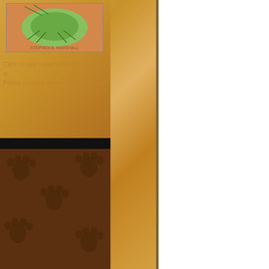Dragonfly
Earthworm
Earwig
Firefly
Glowworm
Gnat
Grasshopper
Hermit Crab
Hornet
Katydid
Ladybug
Lice
Lobster
Locust
Mayfly
Millipede
Mosquito
Moth
Praying Mantis
Scarab
Scorpion
Sea Monkey
Shrimp
Spider
Tarantula
Tick
Trilobite
Wasp
Wolf Spider
Yellowjacket
Bird
Cat
[Figure (photo): Katydid product image, green insect on orange background]
Click to see more Katydid items at w... Prices current as of last update, 08/...
[Figure (illustration): Brown background with darker brown paw print patterns]